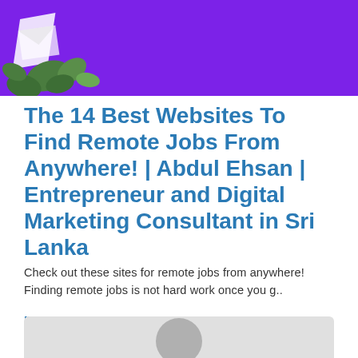[Figure (illustration): Purple/violet banner header with white decorative plant/leaf elements on the left side]
The 14 Best Websites To Find Remote Jobs From Anywhere! | Abdul Ehsan | Entrepreneur and Digital Marketing Consultant in Sri Lanka
Check out these sites for remote jobs from anywhere! Finding remote jobs is not hard work once you g..
[[View rating and comments]]
submitted at 29.08.2022
[Figure (photo): Gray placeholder image with avatar circle at bottom, partial view of profile image]